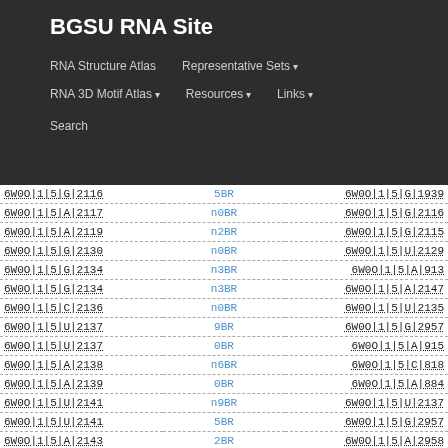BGSU RNA Site
RNA Structure Atlas | Representative Sets ▾ | RNA 3D Motif Atlas ▾ | Resources ▾ | Links ▾ | Search
| Left ID | Type | Right ID |
| --- | --- | --- |
| 6W0O|1|5|G|2116 | 5BR | 6W0O|1|5|G|1939 |
| 6W0O|1|5|A|2117 | n0BR | 6W0O|1|5|G|2116 |
| 6W0O|1|5|A|2119 | n2BR | 6W0O|1|5|G|2115 |
| 6W0O|1|5|G|2130 | n0BR | 6W0O|1|5|U|2129 |
| 6W0O|1|5|G|2134 | n3BR | 6W0O|1|5|A|913 |
| 6W0O|1|5|G|2134 | n3BR | 6W0O|1|5|A|2147 |
| 6W0O|1|5|C|2136 | n0BR | 6W0O|1|5|U|2135 |
| 6W0O|1|5|U|2137 | 9BR | 6W0O|1|5|G|2957 |
| 6W0O|1|5|U|2137 | 0BR | 6W0O|1|5|A|915 |
| 6W0O|1|5|A|2138 | n6BR | 6W0O|1|5|C|818 |
| 6W0O|1|5|A|2139 | 0BR | 6W0O|1|5|A|884 |
| 6W0O|1|5|U|2141 | n9BR | 6W0O|1|5|U|2137 |
| 6W0O|1|5|U|2141 | 5BR | 6W0O|1|5|G|2957 |
| 6W0O|1|5|A|2143 | 2BR | 6W0O|1|5|A|2958 |
| 6W0O|1|5|A|2144 | 7BR | 6W0O|1|5|U|2975 |
| 6W0O|1|5|A|2144 | 2BR | 6W0O|1|5|U|2129 |
| 6W0O|1|5|A|2144 | 2BR | 6W0O|1|5|G|2130 |